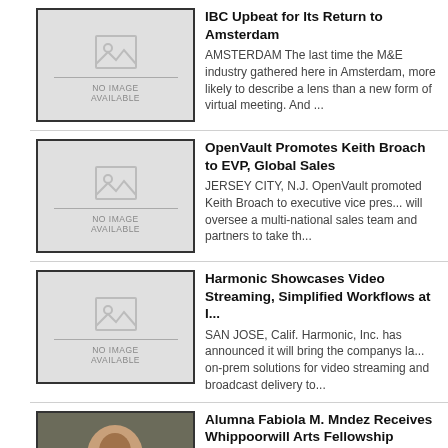IBC Upbeat for Its Return to Amsterdam — AMSTERDAM The last time the M&E industry gathered here in Amsterdam, more likely to describe a lens than a new form of virtual meeting. And ...
OpenVault Promotes Keith Broach to EVP, Global Sales — JERSEY CITY, N.J. OpenVault promoted Keith Broach to executive vice pres... will oversee a multi-national sales team and partners to take th...
Harmonic Showcases Video Streaming, Simplified Workflows at I... — SAN JOSE, Calif. Harmonic, Inc. has announced it will bring the companys la... on-prem solutions for video streaming and broadcast delivery to...
Alumna Fabiola M. Mndez Receives Whippoorwill Arts Fellowship — Alumna Fabiola M. M ndez Receives Whippoorwill Arts Fellowship M ndez is... to be awarded the $25,000 grant for the 2022-2023 season. By ...
UZALO: Watch tonight's episode, 19 August 2022 [VIDEO] — UZALO: Watch tonight's episode, 19 August 2022 [VIDEO]Missed an episode... Watch all the latest episodes of Uzalo soapie right here,don&#...
MUVHANGO: Watch tonight's episode, 19 August 2022 [VIDEO] — MUVHANGO: Watch tonight's episode, 19 August 2022 [VIDEO]Missed an ep... No problem! Watch all the latest episodes of Muvhango soapie right h...
SKEEM SAAM: Watch tonight's episode, 19 August 2022 [VIDEO] — SKEEM SAAM: Watch tonight's episode, 19 August 2022 [VIDEO]Missed an... Saam? No problem! Watch all the latest episodes of Skeem Saam soapie...